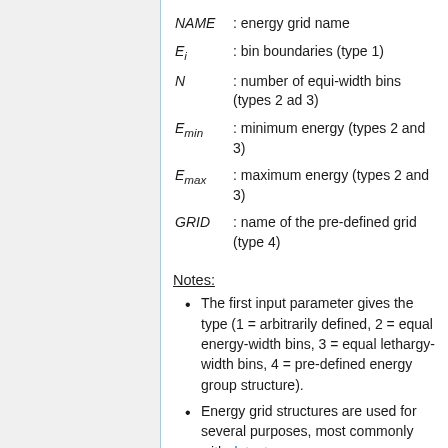NAME : energy grid name
E_i : bin boundaries (type 1)
N : number of equi-width bins (types 2 ad 3)
E_min : minimum energy (types 2 and 3)
E_max : maximum energy (types 2 and 3)
GRID : name of the pre-defined grid (type 4)
Notes:
The first input parameter gives the type (1 = arbitrarily defined, 2 = equal energy-width bins, 3 = equal lethargy-width bins, 4 = pre-defined energy group structure).
Energy grid structures are used for several purposes, most commonly with detectors.